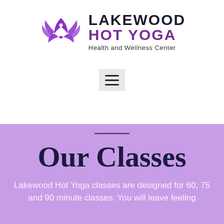[Figure (logo): Lakewood Hot Yoga logo with lotus flower icon and text 'LAKEWOOD HOT YOGA Health and Wellness Center']
[Figure (other): Hamburger menu button (three horizontal lines) with light gray background]
Our Classes
Lakewood Hot Yoga classes are designed for 60, 75 and 90 minute classes. You will leave feeling